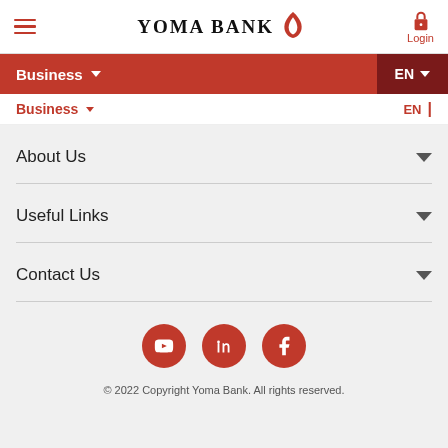Yoma Bank
Business EN
Business EN
About Us
Useful Links
Contact Us
[Figure (logo): YouTube, LinkedIn, Facebook social media icons in red circles]
© 2022 Copyright Yoma Bank. All rights reserved.